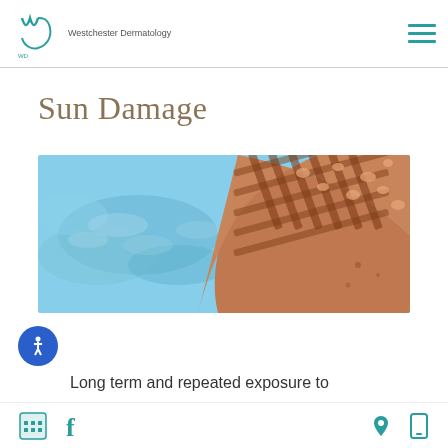Westchester Dermatology
Sun Damage
[Figure (photo): Close-up photo of a person's shoulder and upper back at the beach. A crocheted or lace cover-up casts a shadow pattern on the skin. Blue water and sky visible in the background.]
Long term and repeated exposure to
Google Reviews | Facebook | Location | Mobile